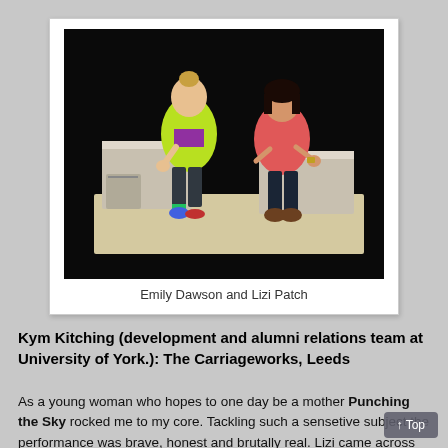[Figure (photo): Two women on a stage. Left woman wears a yellow-green hoodie and colorful sneakers, sitting on a white cube. Right woman wears a pink/salmon jacket and dark jeans, also seated on a white block, gesturing with hands. Dark background.]
Emily Dawson and Lizi Patch
Kym Kitching (development and alumni relations team at University of York.): The Carriageworks, Leeds
As a young woman who hopes to one day be a mother Punching the Sky rocked me to my core. Tackling such a sensetive subject the performance was brave, honest and brutally real. Lizi came across as a passionate parent trying desperately to make sense of how to raise a child in an increasingly ‘accessible’ world.